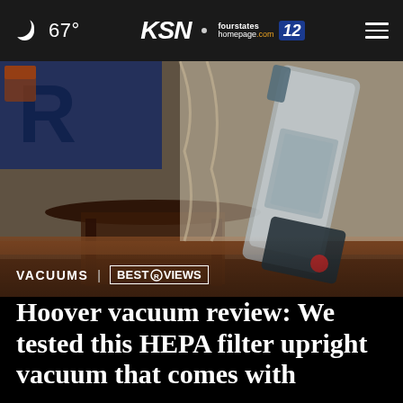67° | KSN fourstates homepage.com 12
[Figure (photo): A Hoover upright vacuum cleaner leaning against furniture in a living room setting with a table and couch visible in the background.]
VACUUMS | BESTREVIEWS
Hoover vacuum review: We tested this HEPA filter upright vacuum that comes with